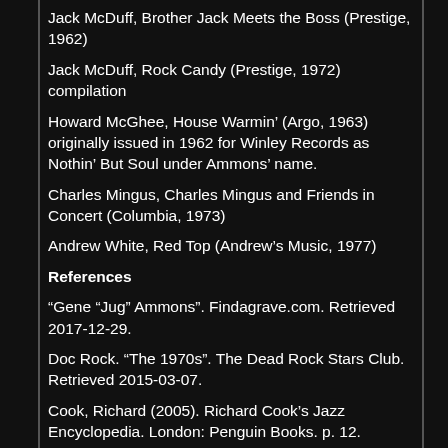Jack McDuff, Brother Jack Meets the Boss (Prestige, 1962)
Jack McDuff, Rock Candy (Prestige, 1972) compilation
Howard McGhee, House Warmin' (Argo, 1963) originally issued in 1962 for Winley Records as Nothin' But Soul under Ammons' name.
Charles Mingus, Charles Mingus and Friends in Concert (Columbia, 1973)
Andrew White, Red Top (Andrew's Music, 1977)
References
“Gene “Jug” Ammons”. Findagrave.com. Retrieved 2017-12-29.
Doc Rock. “The 1970s”. The Dead Rock Stars Club. Retrieved 2015-03-07.
Cook, Richard (2005). Richard Cook’s Jazz Encyclopedia. London: Penguin Books. p. 12.